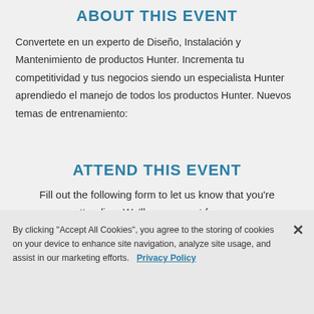ABOUT THIS EVENT
Convertete en un experto de Diseño, Instalación y Mantenimiento de productos Hunter. Incrementa tu competitividad y tus negocios siendo un especialista Hunter aprendiedo el manejo de todos los productos Hunter. Nuevos temas de entrenamiento:
ATTEND THIS EVENT
Fill out the following form to let us know that you're attending. We'll save a seat for you.
By clicking "Accept All Cookies", you agree to the storing of cookies on your device to enhance site navigation, analyze site usage, and assist in our marketing efforts.   Privacy Policy